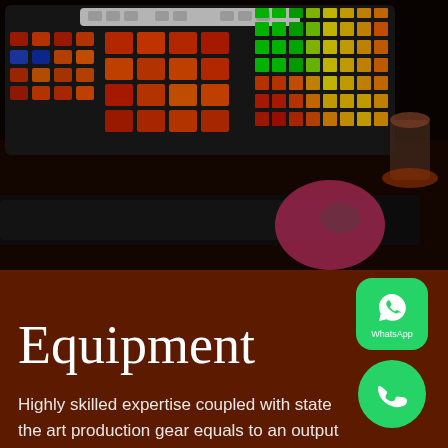[Figure (photo): Dark studio photo showing a music production setup with illuminated DJ controller/MIDI pads glowing in red, orange, green and blue colors, a keyboard, mouse on a pink/magenta mousepad, and a drink cup, all on a dark desk in dim lighting.]
[Figure (logo): WhatsApp logo button - green rounded square with white WhatsApp phone icon and 'WhatsApp' text below]
Equipment
[Figure (logo): Green circular phone/call button with white phone handset icon]
Highly skilled expertise coupled with state the art production gear equals to an output quality par excellence. We not only have all